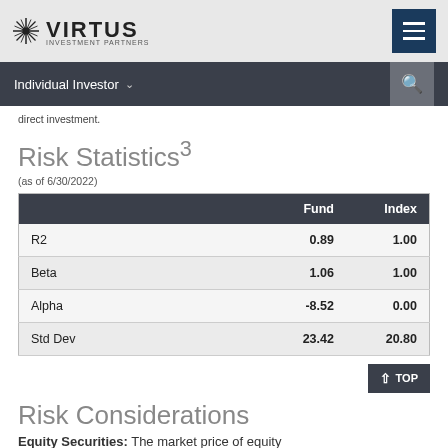[Figure (logo): Virtus Investment Partners logo with starburst icon and hamburger menu button]
Individual Investor
direct investment.
Risk Statistics³
(as of 6/30/2022)
|  | Fund | Index |
| --- | --- | --- |
| R2 | 0.89 | 1.00 |
| Beta | 1.06 | 1.00 |
| Alpha | -8.52 | 0.00 |
| Std Dev | 23.42 | 20.80 |
Risk Considerations
Equity Securities: The market price of equity